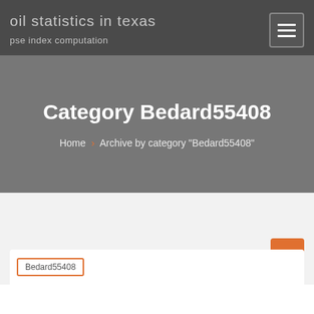oil statistics in texas
pse index computation
Category Bedard55408
Home › Archive by category "Bedard55408"
Bedard55408